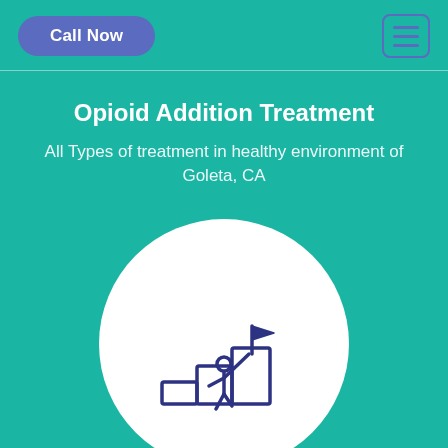Call Now | [hamburger menu]
Opioid Addition Treatment
All Types of treatment in healthy environment of Goleta, CA
[Figure (illustration): White circle containing a line-art illustration of a person climbing steps and holding a flag at the top, rendered in dark navy/indigo color on a white circular background.]